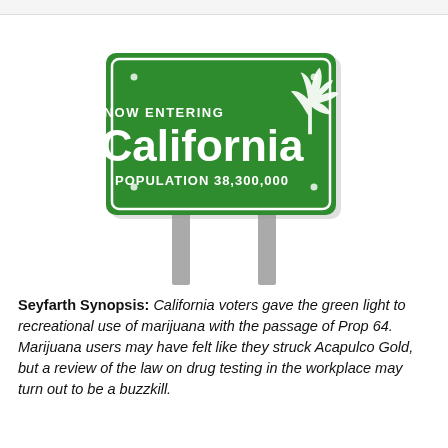[Figure (illustration): A green highway welcome sign reading 'NOW ENTERING California POPULATION 38,300,000' with a cannabis leaf graphic on the upper right, mounted on two gray metal poles.]
Seyfarth Synopsis: California voters gave the green light to recreational use of marijuana with the passage of Prop 64. Marijuana users may have felt like they struck Acapulco Gold, but a review of the law on drug testing in the workplace may turn out to be a buzzkill.